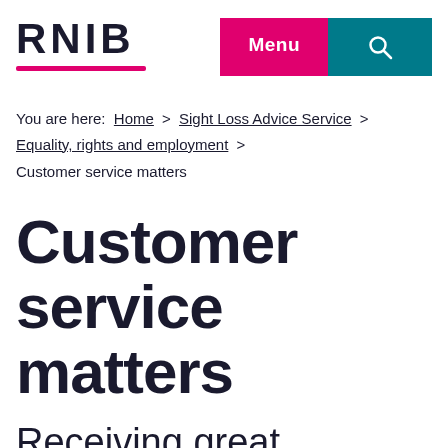RNIB
You are here: Home > Sight Loss Advice Service > Equality, rights and employment > Customer service matters
Customer service matters
Receiving great customer service, whether when